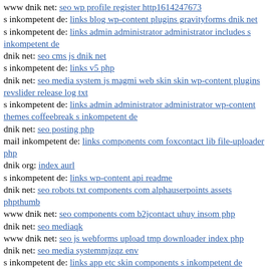www dnik net: seo wp profile register http1614247673
s inkompetent de: links blog wp-content plugins gravityforms dnik net
s inkompetent de: links admin administrator administrator includes s inkompetent de
dnik net: seo cms js dnik net
s inkompetent de: links v5 php
dnik net: seo media system js magmi web skin skin wp-content plugins revslider release log txt
s inkompetent de: links admin administrator administrator wp-content themes coffeebreak s inkompetent de
dnik net: seo posting php
mail inkompetent de: links components com foxcontact lib file-uploader php
dnik org: index aurl
s inkompetent de: links wp-content api readme
dnik net: seo robots txt components com alphauserpoints assets phpthumb
www dnik net: seo components com b2jcontact uhuy insom php
dnik net: seo mediaqk
www dnik net: seo js webforms upload tmp downloader index php
dnik net: seo media systemmjzqz env
s inkompetent de: links app etc skin components s inkompetent de
www dnik net: seo media includes wp-content themes premiumnews dnik net